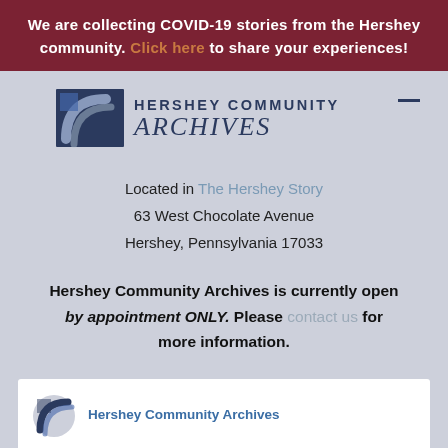We are collecting COVID-19 stories from the Hershey community. Click here to share your experiences!
[Figure (logo): Hershey Community Archives logo with blue geometric arc icon and text 'HERSHEY COMMUNITY ARCHIVES']
Located in The Hershey Story
63 West Chocolate Avenue
Hershey, Pennsylvania 17033
Hershey Community Archives is currently open by appointment ONLY. Please contact us for more information.
[Figure (logo): Hershey Community Archives footer card with small logo icon and text 'Hershey Community Archives']